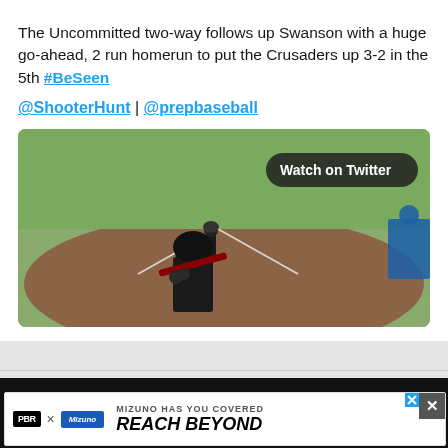The Uncommitted two-way follows up Swanson with a huge go-ahead, 2 run homerun to put the Crusaders up 3-2 in the 5th #BeSeen
@ShooterHunt | @prepbaseball
[Figure (photo): Baseball game video thumbnail showing a batter at home plate and a baserunner, with a 'Watch on Twitter' badge overlay]
[Figure (infographic): PBR Nevada advertisement banner with Mizuno branding and text 'PBR NEVADA']
[Figure (infographic): Overlay advertisement: PBR x Mizuno - MIZUNO HAS YOU COVERED / REACH BEYOND]